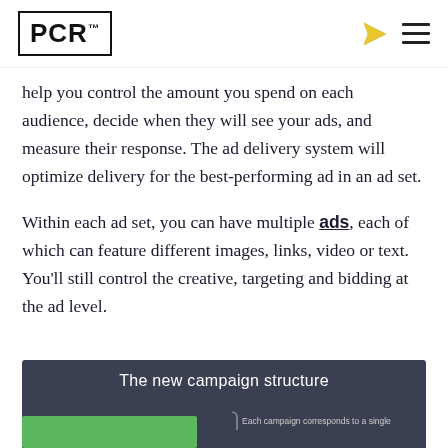PCR
help you control the amount you spend on each audience, decide when they will see your ads, and measure their response. The ad delivery system will optimize delivery for the best-performing ad in an ad set.
Within each ad set, you can have multiple ads, each of which can feature different images, links, video or text. You’ll still control the creative, targeting and bidding at the ad level.
[Figure (infographic): Infographic with dark background titled 'The new campaign structure' showing a green bar and text: 'Each campaign corresponds to a single']